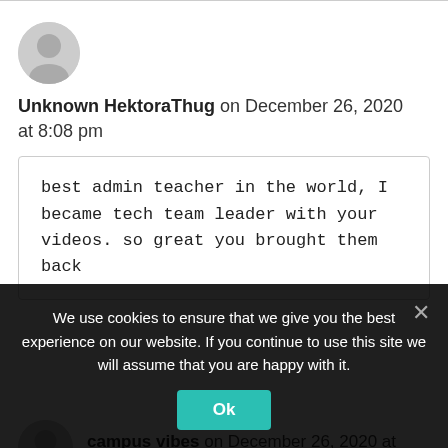Unknown HektoraThug on December 26, 2020 at 8:08 pm
best admin teacher in the world, I became tech team leader with your videos. so great you brought them back
campus vibes on December 26, 2020 at 8:08 pm
We use cookies to ensure that we give you the best experience on our website. If you continue to use this site we will assume that you are happy with it.